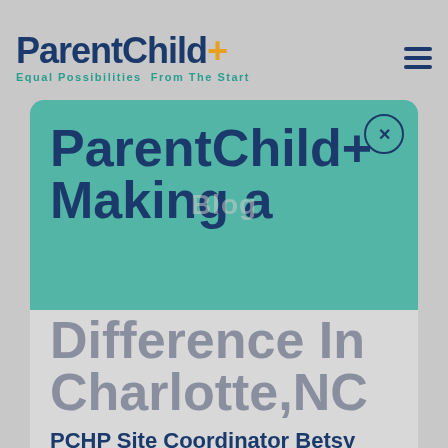ParentChild+ Equal Possibilities From The Start
ParentChild+ Making a Difference In Charlotte,NC
PCHP Site Coordinator Betsy Marlow Retires
CLICK HERE TO SEE THE STORY!
Betsy Marlow
Blog